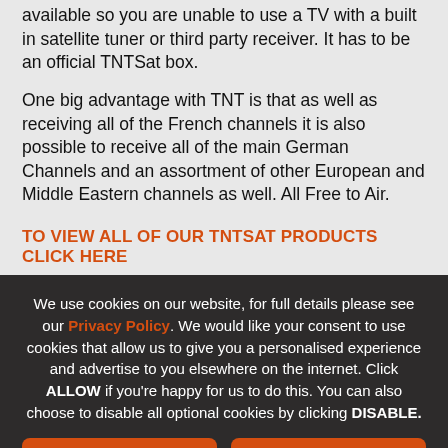available so you are unable to use a TV with a built in satellite tuner or third party receiver. It has to be an official TNTSat box.
One big advantage with TNT is that as well as receiving all of the French channels it is also possible to receive all of the main German Channels and an assortment of other European and Middle Eastern channels as well. All Free to Air.
TO VIEW ALL OF OUR TNTSAT PRODUCTS CLICK HERE
We use cookies on our website, for full details please see our Privacy Policy. We would like your consent to use cookies that allow us to give you a personalised experience and advertise to you elsewhere on the internet. Click ALLOW if you're happy for us to do this. You can also choose to disable all optional cookies by clicking DISABLE.